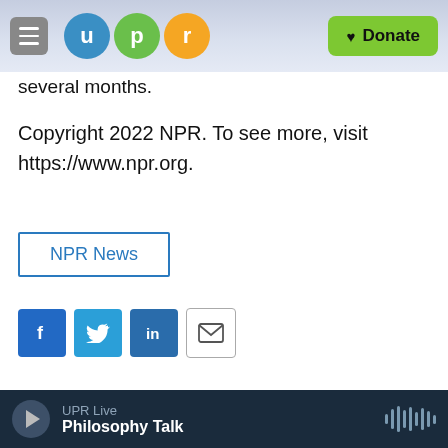UPR — Donate
several months.
Copyright 2022 NPR. To see more, visit https://www.npr.org.
NPR News
[Figure (other): Social share icons: Facebook, Twitter, LinkedIn, Email]
[Figure (photo): Black and white headshot photo of Margot Adler with a microphone]
Margot Adler
Margot Adler died on July 28, 2014 at her
UPR Live — Philosophy Talk